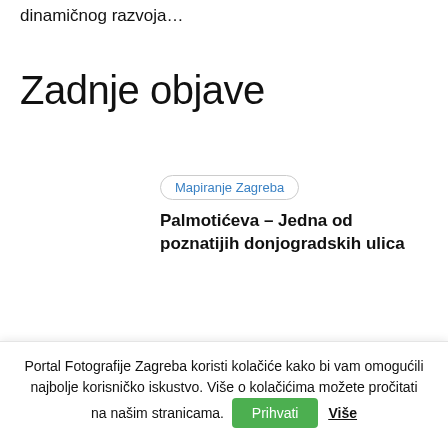dinamičnog razvoja…
Zadnje objave
Mapiranje Zagreba
Palmotićeva – Jedna od poznatijih donjogradskih ulica
Portal Fotografije Zagreba koristi kolačiće kako bi vam omogućili najbolje korisničko iskustvo. Više o kolačićima možete pročitati na našim stranicama.